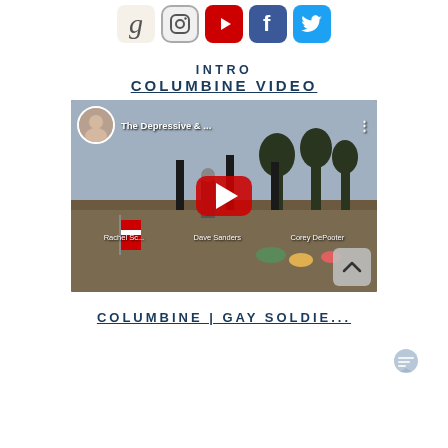[Figure (other): Row of social media icons: Goodreads (g), Instagram, YouTube, Facebook, Twitter]
INTRO
COLUMBINE VIDEO
[Figure (screenshot): YouTube video thumbnail showing a man at a memorial with names Rachel Scott, Dave Sanders, Corey DePooter visible. Video title: 'The Depressive & ...' with a large red YouTube play button in the center. A scroll-up arrow button appears in the bottom right corner.]
COLUMBINE | GAY SOLDIE...